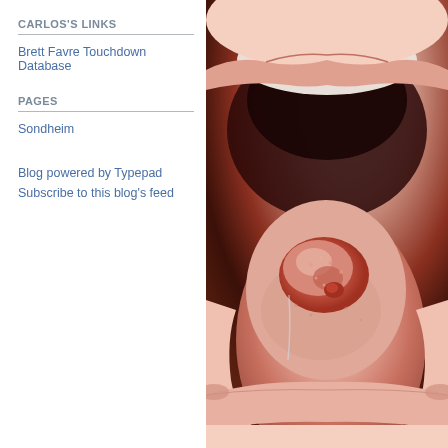CARLOS'S LINKS
Brett Favre Touchdown Database
PAGES
Sondheim
Blog powered by Typepad
Subscribe to this blog's feed
[Figure (photo): Close-up clinical photograph of an open mouth showing a tongue with a visible lesion or abnormal growth on the tip/dorsal surface, appearing as a raised pinkish-red nodular mass with irregular texture, likely a medical condition of the tongue.]